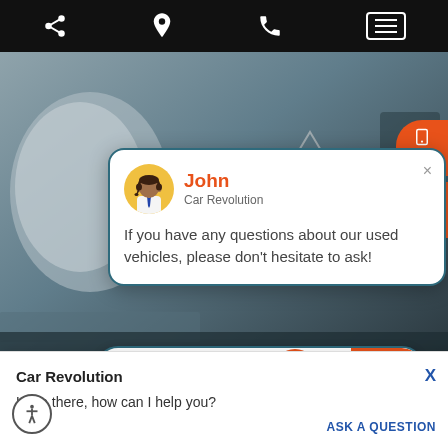[Figure (screenshot): Mobile app top navigation bar with share, location pin, phone, and hamburger menu icons on black background]
[Figure (photo): Background photo of car interior/exterior showing side mirror and speaker]
[Figure (screenshot): Chat popup with agent John from Car Revolution saying: If you have any questions about our used vehicles, please don't hesitate to ask!]
[Figure (screenshot): Input bar with Just ask placeholder, phone button, call icon, and Trade-in button]
[Figure (screenshot): Bottom chat popup from Car Revolution saying Hello there, how can I help you? with ASK A QUESTION link]
John
Car Revolution
If you have any questions about our used vehicles, please don't hesitate to ask!
Just ask
Trade-in
Car Revolution
Hello there, how can I help you?
ASK A QUESTION